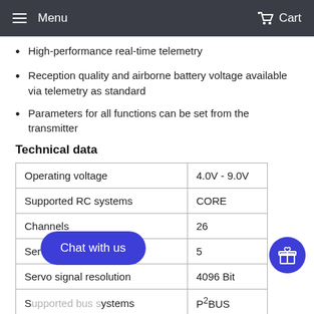Menu  Cart
High-performance real-time telemetry
Reception quality and airborne battery voltage available via telemetry as standard
Parameters for all functions can be set from the transmitter
Technical data
|  |  |
| --- | --- |
| Operating voltage | 4.0V - 9.0V |
| Supported RC systems | CORE |
| Channels | 26 |
| Servo sockets | 5 |
| Servo signal resolution | 4096 Bit |
| Supported bus systems | P²BUS |
| Dimensions | 44 x 20 x 12 mm |
| Weight | 7 |